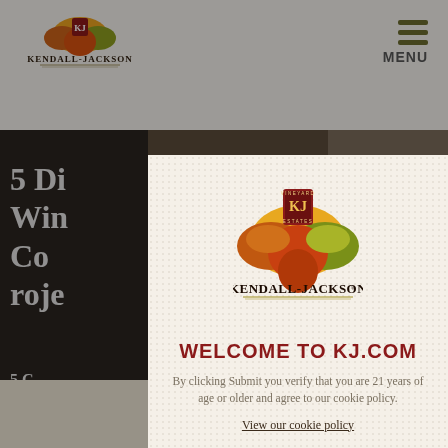[Figure (screenshot): Kendall-Jackson website screenshot with header showing KJ logo and hamburger MENU icon, dark left panel with partial text '5 Di... Win... Co... roje...' and '5 C... PRO...' overlay text visible on dark background]
[Figure (logo): Kendall-Jackson Vineyard Estates logo with colorful leaf cluster, shield with KJ initials, and KENDALL-JACKSON wordmark in serif font]
WELCOME TO KJ.COM
By clicking Submit you verify that you are 21 years of age or older and agree to our cookie policy.
View our cookie policy
SUBMIT